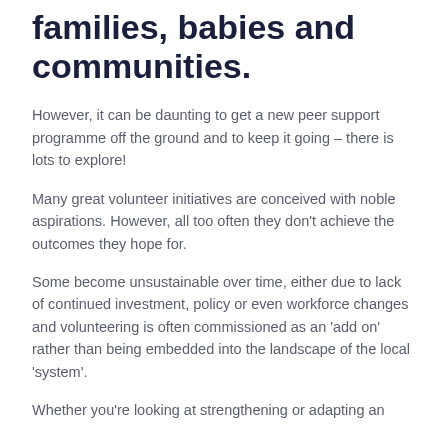families, babies and communities.
However, it can be daunting to get a new peer support programme off the ground and to keep it going – there is lots to explore!
Many great volunteer initiatives are conceived with noble aspirations. However, all too often they don't achieve the outcomes they hope for.
Some become unsustainable over time, either due to lack of continued investment, policy or even workforce changes and volunteering is often commissioned as an 'add on' rather than being embedded into the landscape of the local 'system'.
Whether you're looking at strengthening or adapting an